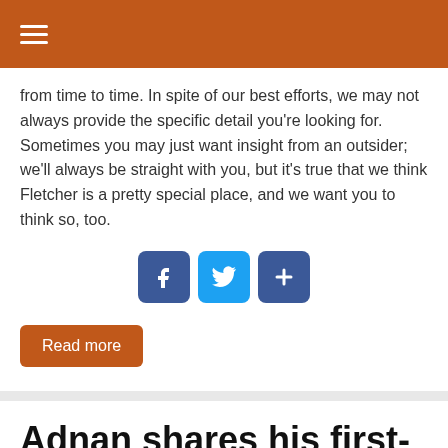from time to time. In spite of our best efforts, we may not always provide the specific detail you’re looking for. Sometimes you may just want insight from an outsider; we’ll always be straight with you, but it’s true that we think Fletcher is a pretty special place, and we want you to think so, too.
[Figure (infographic): Three social sharing icon buttons: Facebook (blue, f logo), Twitter (blue, bird logo), and a share/add button (blue, plus icon)]
Read more
Adnan shares his first-year knowledge